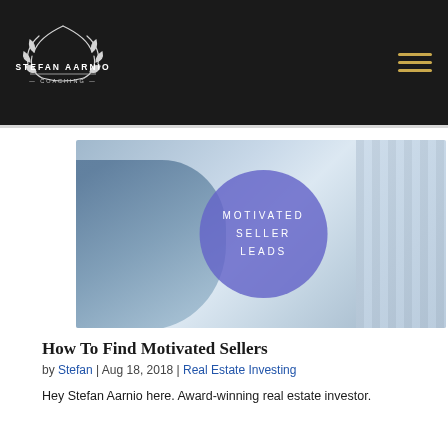Stefan Aarnio Coaching
[Figure (photo): Hero image of a handshake with a purple circle overlay reading MOTIVATED SELLER LEADS in white spaced lettering]
How To Find Motivated Sellers
by Stefan | Aug 18, 2018 | Real Estate Investing
Hey Stefan Aarnio here. Award-winning real estate investor.